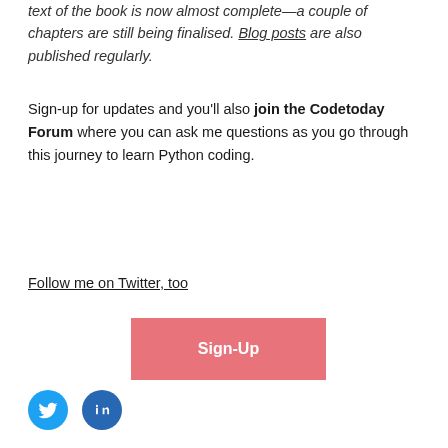text of the book is now almost complete—a couple of chapters are still being finalised. Blog posts are also published regularly.
Sign-up for updates and you'll also join the Codetoday Forum where you can ask me questions as you go through this journey to learn Python coding.
Follow me on Twitter, too
[Figure (other): A pink/salmon-colored Sign-Up button]
[Figure (other): Twitter and LinkedIn social media icon circles]